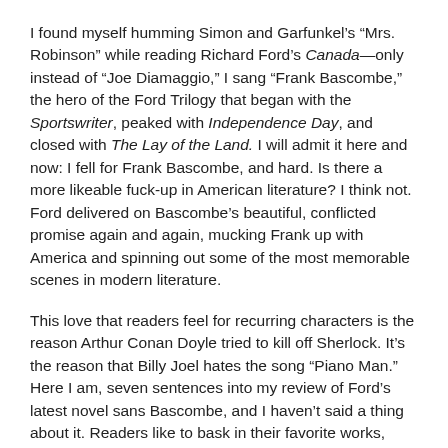I found myself humming Simon and Garfunkel's “Mrs. Robinson” while reading Richard Ford’s Canada—only instead of “Joe Diamaggio,” I sang “Frank Bascombe,” the hero of the Ford Trilogy that began with the Sportswriter, peaked with Independence Day, and closed with The Lay of the Land. I will admit it here and now: I fell for Frank Bascombe, and hard. Is there a more likeable fuck-up in American literature? I think not. Ford delivered on Bascombe’s beautiful, conflicted promise again and again, mucking Frank up with America and spinning out some of the most memorable scenes in modern literature.
This love that readers feel for recurring characters is the reason Arthur Conan Doyle tried to kill off Sherlock. It’s the reason that Billy Joel hates the song “Piano Man.” Here I am, seven sentences into my review of Ford’s latest novel sans Bascombe, and I haven’t said a thing about it. Readers like to bask in their favorite works, while writers are ready to move on to new narrative challenges. Luckily I’ll follow Ford wherever he wants to take me.